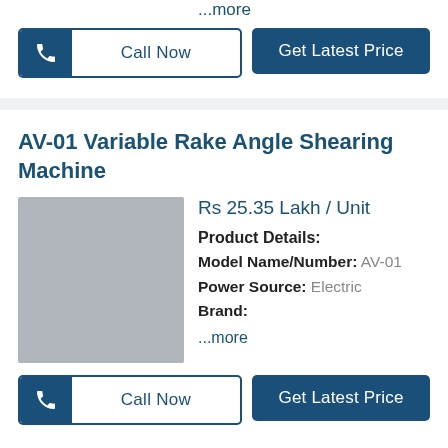...more
Call Now | Get Latest Price
AV-01 Variable Rake Angle Shearing Machine
[Figure (photo): Product image placeholder (gray box) for AV-01 Variable Rake Angle Shearing Machine]
Rs 25.35 Lakh / Unit
Product Details:
Model Name/Number: AV-01
Power Source: Electric
Brand:
...more
Call Now | Get Latest Price